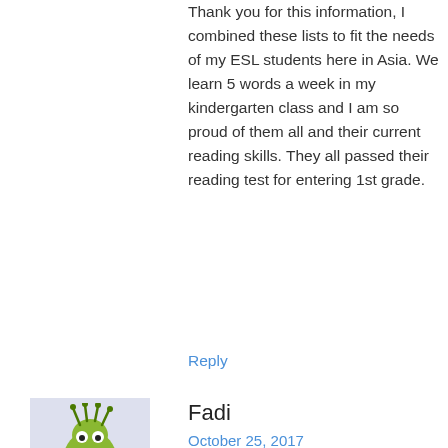Thank you for this information, I combined these lists to fit the needs of my ESL students here in Asia. We learn 5 words a week in my kindergarten class and I am so proud of them all and their current reading skills. They all passed their reading test for entering 1st grade.
Reply
[Figure (illustration): Avatar of user Fadi — cartoon green monster character on light purple background]
Fadi
October 25, 2017
Thank you…… It is really helpful.
Reply
[Figure (illustration): Avatar of user Bette Mroz — cartoon crab character on light beige/orange background]
Bette Mroz
January 9, 2018
I am a retired first grade teacher, reading specialist, principal and always educator. I now